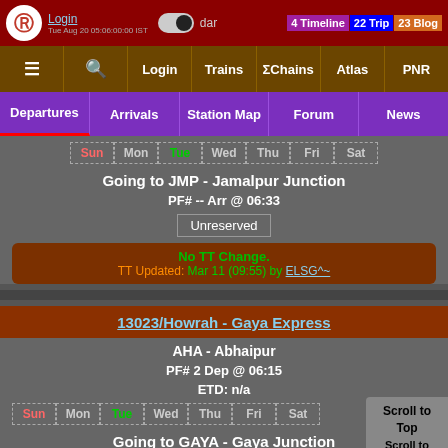Login | dar | 4 Timeline 22 Trip 23 Blog | Tue Aug 20 05:00:00 IST
≡ | 🔍 | Login | Trains | ΣChains | Atlas | PNR
Departures | Arrivals | Station Map | Forum | News
Sun Mon Tue Wed Thu Fri Sat
Going to JMP - Jamalpur Junction
PF# -- Arr @ 06:33
Unreserved
No TT Change.
TT Updated: Mar 11 (09:55) by ELSG^~
13023/Howrah - Gaya Express
AHA - Abhaipur
PF# 2 Dep @ 06:15
ETD: n/a
Sun Mon Tue Wed Thu Fri Sat
Going to GAYA - Gaya Junction
PF# 4 Arr @ 10:45
Scroll to Top
Scroll to